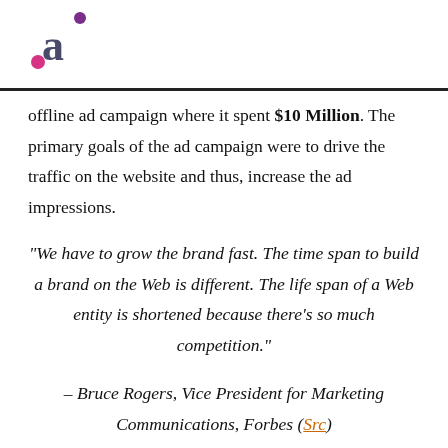[Figure (logo): Stylized letter 'a' logo with pink dot and purple dot, resembling a brand mark]
offline ad campaign where it spent $10 Million. The primary goals of the ad campaign were to drive the traffic on the website and thus, increase the ad impressions.
“We have to grow the brand fast. The time span to build a brand on the Web is different. The life span of a Web entity is shortened because there’s so much competition.”
– Bruce Rogers, Vice President for Marketing Communications, Forbes (Src)